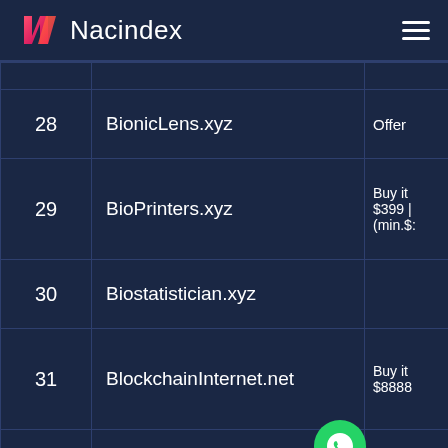Nacindex
| # | Domain | Action |
| --- | --- | --- |
| 28 | BionicLens.xyz | Offer |
| 29 | BioPrinters.xyz | Buy it $399 | (min.$: |
| 30 | Biostatistician.xyz |  |
| 31 | BlockchainInternet.net | Buy it $8888 |
| 32 | BlockchainMetaverses.xyz | -- |
|  |  | Buy it $1188 |